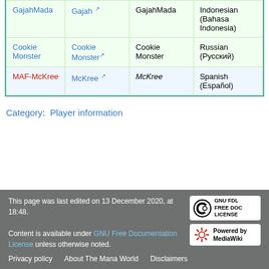|  |  |  |  |
| --- | --- | --- | --- |
| GajahMada | Gajah [ext] | GajahMada | Indonesian (Bahasa Indonesia) |
| Cookie Monster | Cookie Monster [ext] | Cookie Monster | Russian (Русский) |
| MAF-McKree | McKree [ext] | McKree | Spanish (Español) |
Category: Player information
This page was last edited on 13 December 2020, at 18:48. Content is available under GNU Free Documentation License unless otherwise noted. Privacy policy  About The Mana World  Disclaimers